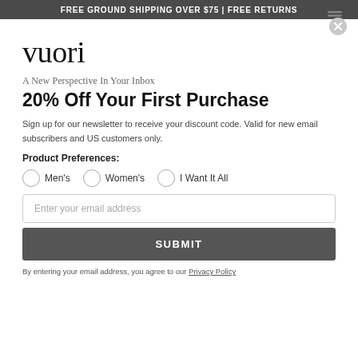FREE GROUND SHIPPING OVER $75 | FREE RETURNS
vuori
A New Perspective In Your Inbox
20% Off Your First Purchase
Sign up for our newsletter to receive your discount code. Valid for new email subscribers and US customers only.
Product Preferences:
Men's
Women's
I Want It All
Enter your email address
SUBMIT
By entering your email address, you agree to our Privacy Policy